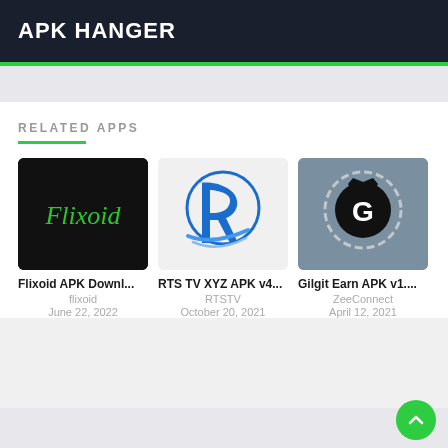APK HANGER
RELATED APPS
[Figure (logo): Flixoid app thumbnail – black background with green italic Flixoid text]
Flixoid APK Downl...
flixoid
June 22, 2022
[Figure (logo): RTS TV XYZ app thumbnail – blue and white stylized R logo on light background]
RTS TV XYZ APK v4...
RTSTV
October 20, 2021
[Figure (logo): Gilgit Earn app thumbnail – dark background with circular G crown logo]
Gilgit Earn APK v1....
ZeeConnect
April 12, 2021